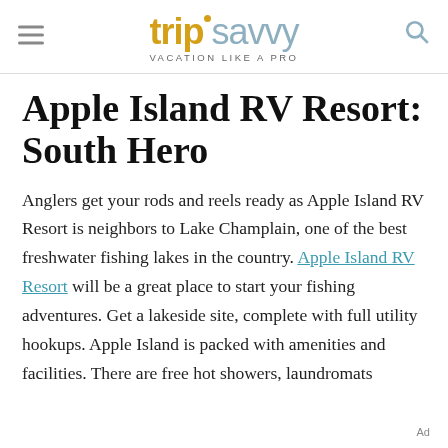tripsavvy VACATION LIKE A PRO
Apple Island RV Resort: South Hero
Anglers get your rods and reels ready as Apple Island RV Resort is neighbors to Lake Champlain, one of the best freshwater fishing lakes in the country. Apple Island RV Resort will be a great place to start your fishing adventures. Get a lakeside site, complete with full utility hookups. Apple Island is packed with amenities and facilities. There are free hot showers, laundromats